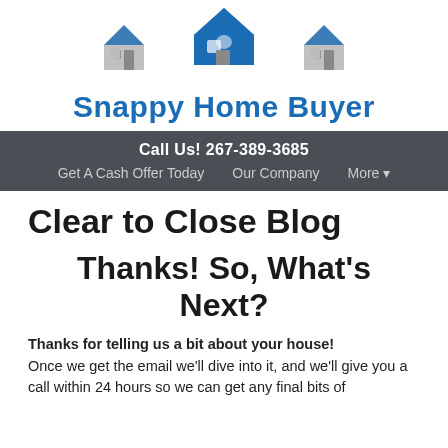[Figure (logo): Snappy Home Buyer logo with blue house icons and company name]
Call Us! 267-389-3685
Get A Cash Offer Today   Our Company   More ▾
Clear to Close Blog
Thanks! So, What's Next?
Thanks for telling us a bit about your house! Once we get the email we'll dive into it, and we'll give you a call within 24 hours so we can get any final bits of